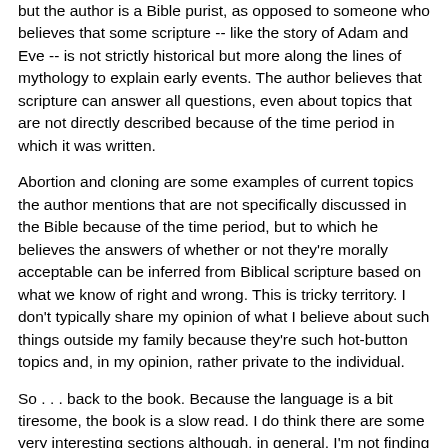but the author is a Bible purist, as opposed to someone who believes that some scripture -- like the story of Adam and Eve -- is not strictly historical but more along the lines of mythology to explain early events. The author believes that scripture can answer all questions, even about topics that are not directly described because of the time period in which it was written.
Abortion and cloning are some examples of current topics the author mentions that are not specifically discussed in the Bible because of the time period, but to which he believes the answers of whether or not they're morally acceptable can be inferred from Biblical scripture based on what we know of right and wrong. This is tricky territory. I don't typically share my opinion of what I believe about such things outside my family because they're such hot-button topics and, in my opinion, rather private to the individual.
So . . . back to the book. Because the language is a bit tiresome, the book is a slow read. I do think there are some very interesting sections although, in general, I'm not finding the book as illuminating as I'd hoped. I enjoyed reading about America's Prohibition Period, in particular. The author